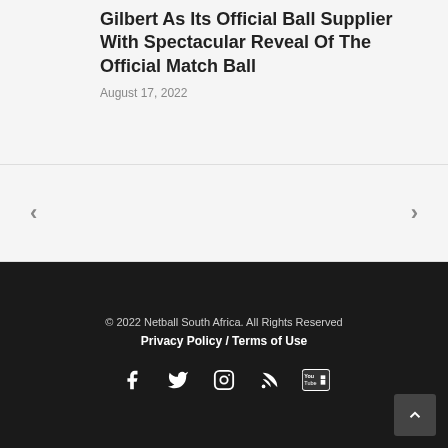Gilbert As Its Official Ball Supplier With Spectacular Reveal Of The Official Match Ball
August 17, 2022
< >
© 2022 Netball South Africa. All Rights Reserved Privacy Policy / Terms of Use